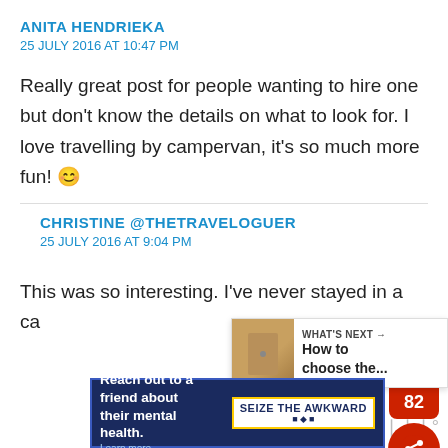ANITA HENDRIEKA
25 JULY 2016 AT 10:47 PM
Really great post for people wanting to hire one but don't know the details on what to look for. I love travelling by campervan, it's so much more fun! 😊
CHRISTINE @THETRAVELOGUER
25 JULY 2016 AT 9:04 PM
This was so interesting. I've never stayed in a ca…
[Figure (infographic): Social sharing widget with heart icon (82 likes) and share button in red and black]
[Figure (infographic): What's Next panel showing a wooden door image with text 'WHAT'S NEXT → How to choose the...']
[Figure (infographic): Advertisement banner: 'Reach out to a friend about their mental health. Learn more' with Seize the Awkward badge and logos]